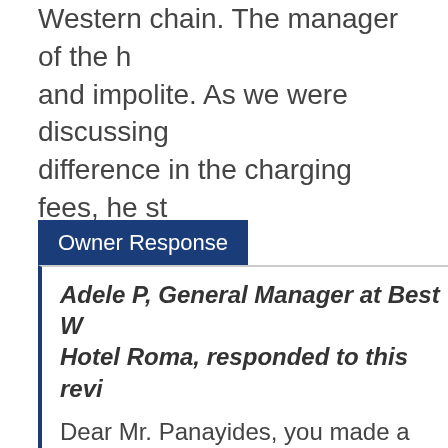Western chain. The manager of the h... and impolite. As we were discussing difference in the charging fees, he st... and... more
Owner Response
Adele P, General Manager at Best W... Hotel Roma, responded to this revi...
Dear Mr. Panayides, you made a rese... 02 people and upon arrival you were... staff promptly changed the assigne... informed about the supplement for...